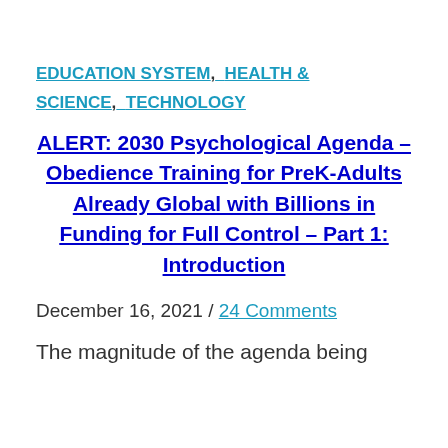EDUCATION SYSTEM,  HEALTH & SCIENCE,  TECHNOLOGY
ALERT: 2030 Psychological Agenda – Obedience Training for PreK-Adults Already Global with Billions in Funding for Full Control – Part 1: Introduction
December 16, 2021 / 24 Comments
The magnitude of the agenda being